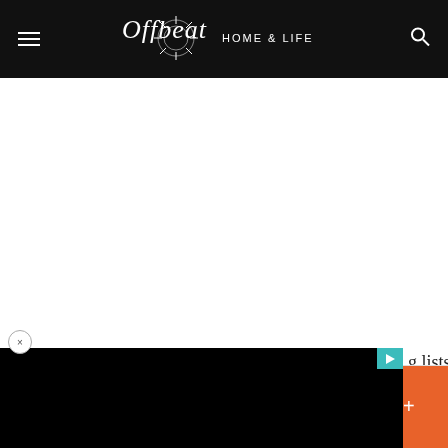Offbeat HOME & LIFE
[Figure (screenshot): White advertisement placeholder area]
[Figure (screenshot): Black video overlay box with play button indicator]
g lists and strategies
ning? Ask ’em in the
comments
13 SHARES
13 SHARES | Facebook | Twitter | Email | Pinterest | More